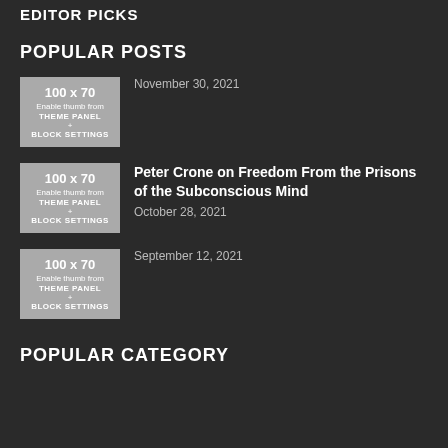EDITOR PICKS
POPULAR POSTS
[Figure (other): Thumbnail placeholder: 100 x 70, Enable thumb from THEME PANEL + BLOCK SETTINGS]
November 30, 2021
[Figure (other): Thumbnail placeholder: 100 x 70, Enable thumb from THEME PANEL + BLOCK SETTINGS]
Peter Crone on Freedom From the Prisons of the Subconscious Mind
October 28, 2021
[Figure (other): Thumbnail placeholder: 100 x 70, Enable thumb from THEME PANEL + BLOCK SETTINGS]
September 12, 2021
POPULAR CATEGORY